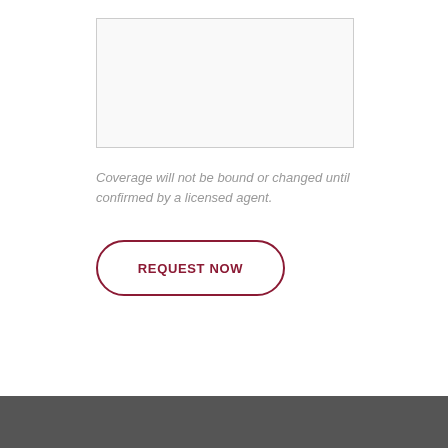[Figure (other): Empty text area input box with light gray border]
Coverage will not be bound or changed until confirmed by a licensed agent.
[Figure (other): REQUEST NOW button with dark red rounded border outline]